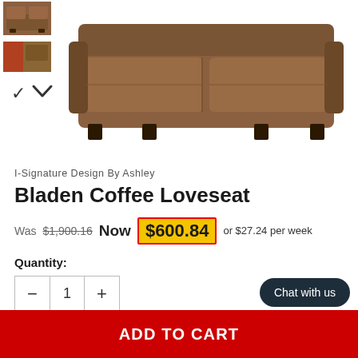[Figure (photo): Thumbnail image of brown leather loveseat sofa]
[Figure (photo): Thumbnail image showing color swatch/variant]
[Figure (photo): Main product photo of Bladen Coffee Loveseat, brown leather sofa against white background]
I-Signature Design By Ashley
Bladen Coffee Loveseat
Was $1,900.16  Now $600.84  or $27.24 per week
Quantity:
Subtotal: $600.84
ADD TO CART